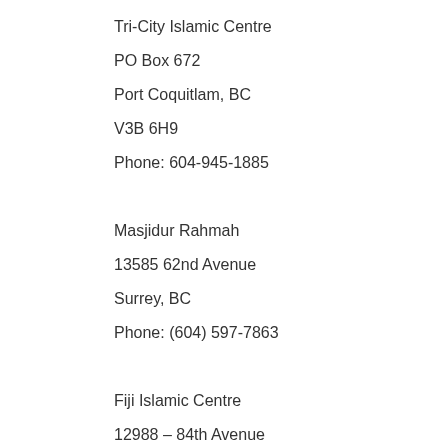Tri-City Islamic Centre
PO Box 672
Port Coquitlam, BC
V3B 6H9
Phone: 604-945-1885
Masjidur Rahmah
13585 62nd Avenue
Surrey, BC
Phone: (604) 597-7863
Fiji Islamic Centre
12988 – 84th Avenue
Surrey, BC
V3M OK6
Phone: 604-321-6566/572-7873
Masjid-Ul-Huda
14136 Grosvenor Road